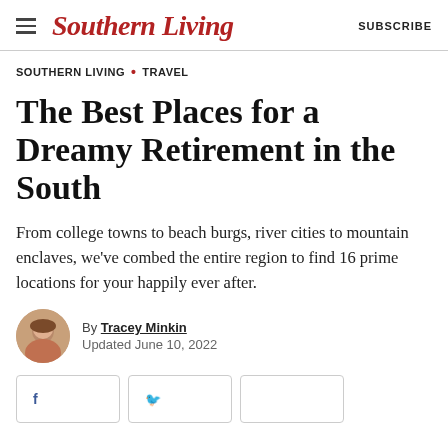Southern Living  SUBSCRIBE
SOUTHERN LIVING • TRAVEL
The Best Places for a Dreamy Retirement in the South
From college towns to beach burgs, river cities to mountain enclaves, we've combed the entire region to find 16 prime locations for your happily ever after.
By Tracey Minkin
Updated June 10, 2022